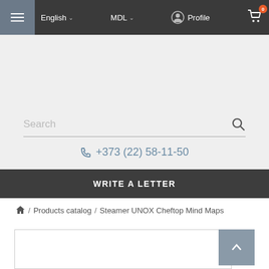≡ English ∨  MDL ∨  Profile  🛒 0
[Figure (screenshot): Search bar with placeholder text 'Search' and magnifying glass icon]
📞 +373 (22) 58-11-50
WRITE A LETTER
🏠 / Products catalog / Steamer UNOX Cheftop Mind Maps
[Figure (screenshot): Product image area with scroll-up button in top right corner]